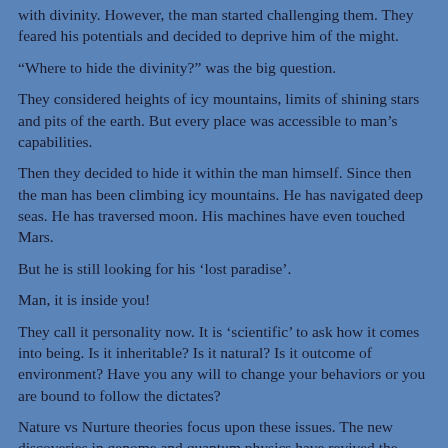with divinity. However, the man started challenging them. They feared his potentials and decided to deprive him of the might.
“Where to hide the divinity?” was the big question.
They considered heights of icy mountains, limits of shining stars and pits of the earth. But every place was accessible to man’s capabilities.
Then they decided to hide it within the man himself. Since then the man has been climbing icy mountains. He has navigated deep seas. He has traversed moon. His machines have even touched Mars.
But he is still looking for his ‘lost paradise’.
Man, it is inside you!
They call it personality now. It is ‘scientific’ to ask how it comes into being. Is it inheritable? Is it natural? Is it outcome of environment? Have you any will to change your behaviors or you are bound to follow the dictates?
Nature vs Nurture theories focus upon these issues. The new discoveries in genome and quantum physics have revived the debate. Incidentally, more they discover, more they bewilder. The abstraction continues intensifying.